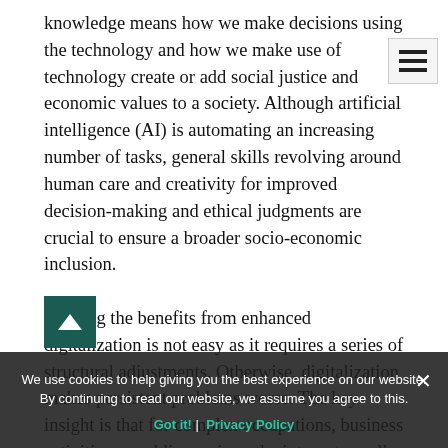knowledge means how we make decisions using the technology and how we make use of technology create or add social justice and economic values to a society. Although artificial intelligence (AI) is automating an increasing number of tasks, general skills revolving around human care and creativity for improved decision-making and ethical judgments are crucial to ensure a broader socio-economic inclusion.

Reaping the benefits from enhanced digitalization is not easy as it requires a series of structural adjustments. Otherwise, digitalization makes persistent problems worse. The key insight is that for complex occupations, business activities or public services, the internet usually can make only a portion of the tasks cheaper, more efficient, or more convenient through automation. Another portion still requires capabilities that humans possess in
[Figure (other): Hamburger menu icon (three horizontal lines) in upper right corner]
[Figure (other): Scroll-to-top arrow button in dark teal/green color]
We use cookies to help giving you the best experience on our website. By continuing to read our website, we assume you agree to this.
Got it! | Privacy Policy